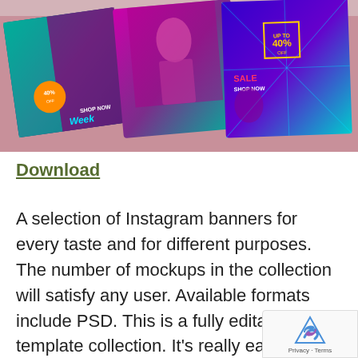[Figure (photo): A flat-lay photo of colorful Instagram banner mockups on a pink background, showing shopping week promotion templates with models, sale text, and vibrant purple, teal, and blue designs.]
Download
A selection of Instagram banners for every taste and for different purposes. The number of mockups in the collection will satisfy any user. Available formats include PSD. This is a fully editable template collection. It's really easy to